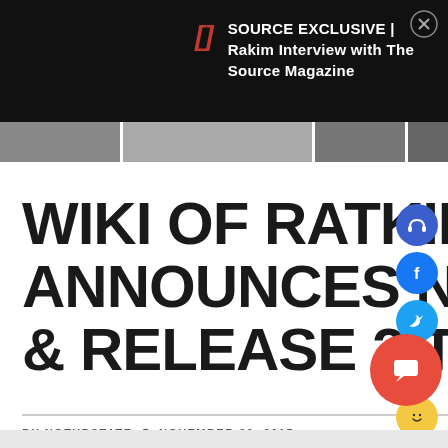SOURCE EXCLUSIVE | Rakim Interview with The Source Magazine
WIKI OF RATKING ANNOUNCES NEW PROJECT & RELEASE 2 TRACKS
BY NOTUPSTATE  © NOVEMBER 30, 2015